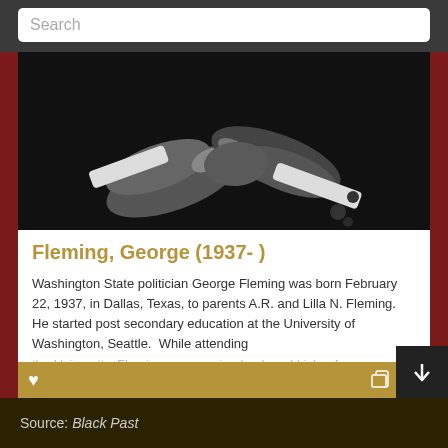Search
[Figure (photo): Black and white photograph showing two people shaking hands, close-up of the hands and lower arms]
Fleming, George (1937- )
Washington State politician George Fleming was born February 22, 1937, in Dallas, Texas, to parents A.R. and Lilla N. Fleming. He started post secondary education at the University of Washington, Seattle.  While attending the University, Fleming was running back and kicker for the Huskies...
Read more
Source: Black Past